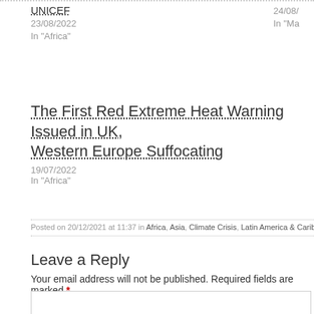UNICEF
23/08/2022
In "Africa"
24/08/
In "Ma
The First Red Extreme Heat Warning Issued in UK, Western Europe Suffocating
19/07/2022
In "Africa"
Posted on 20/12/2021 at 11:37 in Africa, Asia, Climate Crisis, Latin America & Caribbean, Market Lords, Middle
Leave a Reply
Your email address will not be published. Required fields are marked *
Name *